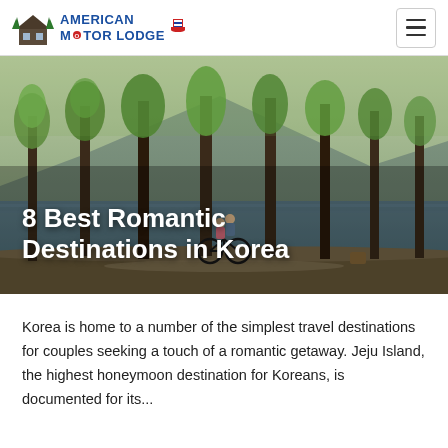American Motor Lodge
[Figure (photo): A couple riding a bicycle near a lake surrounded by tall trees with green spring foliage, with a mountain in the background]
8 Best Romantic Destinations in Korea
Korea is home to a number of the simplest travel destinations for couples seeking a touch of a romantic getaway. Jeju Island, the highest honeymoon destination for Koreans, is documented for its...